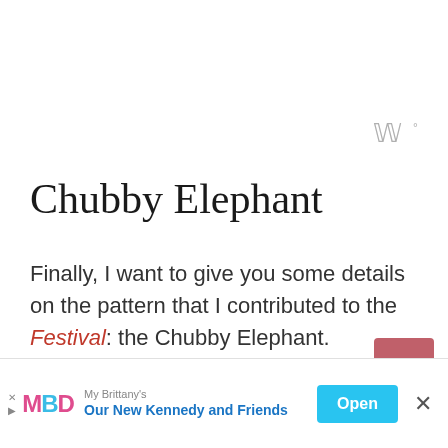[Figure (other): Weather/temperature icon showing stylized W with degree symbol in gray, top-right corner]
Chubby Elephant
Finally, I want to give you some details on the pattern that I contributed to the Festival: the Chubby Elephant.
As usual, this pattern is worked in flat panels which are then joined together to give it that unique look. The Chubby Elephant pattern works brilliantly as a throw cushion for a little one's nursery or
[Figure (other): Scroll-to-top button: pink/rose square button with upward arrow chevron]
[Figure (other): Advertisement banner: My Brittany's MBD logo, headline 'Our New Kennedy and Friends', Open button in cyan, close X button]